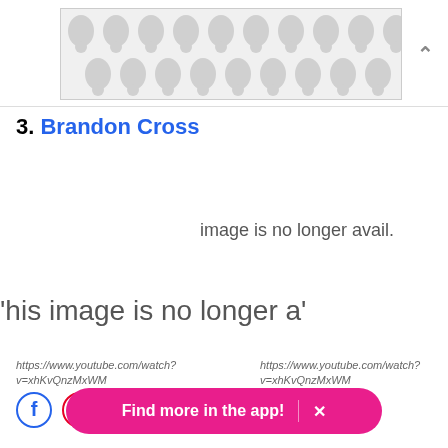[Figure (illustration): A decorative pattern box with repeating polka-dot / teardrop shapes in light gray on a white/gray background, with a chevron-up arrow to the right]
3. Brandon Cross
image is no longer avail.
This image is no longer a.
https://www.youtube.com/watch?v=xhKvQnzMxWM
https://www.youtube.com/watch?v=xhKvQnzMxWM
[Figure (logo): Facebook and Pinterest social share icons (left group)]
[Figure (logo): Facebook and Pinterest social share icons (right group)]
Find more in the app!  ×